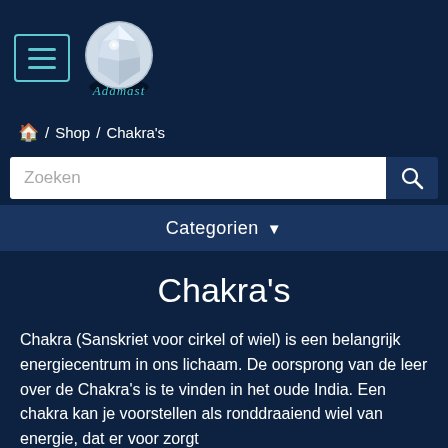[Figure (logo): Adamast jewellery brand logo: circular diamond gemstone image with cursive teal 'Adamast' text beneath, on dark navy background]
🏠 /  Shop  /  Chakra's
Zoeken
Categorien ▼
Chakra's
Chakra (Sanskriet voor cirkel of wiel) is een belangrijk energiecentrum in ons lichaam. De oorsprong van de leer over de Chakra's is te vinden in het oude India. Een chakra kan je voorstellen als ronddraaiend wiel van energie, dat er voor zorgt